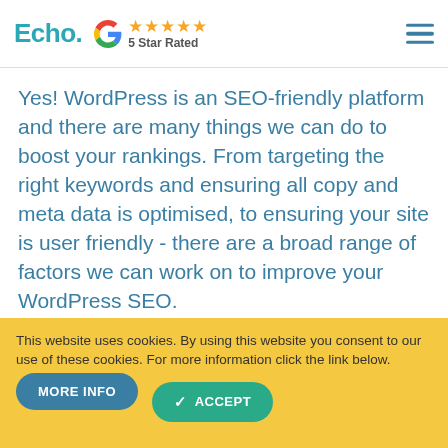Echo. ★★★★★ 5 Star Rated
Yes! WordPress is an SEO-friendly platform and there are many things we can do to boost your rankings. From targeting the right keywords and ensuring all copy and meta data is optimised, to ensuring your site is user friendly - there are a broad range of factors we can work on to improve your WordPress SEO.
MORE HELP & ADVICE
This website uses cookies. By using this website you consent to our use of these cookies. For more information click the link below.
MORE INFO   ACCEPT